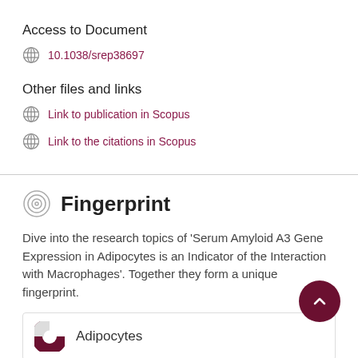Access to Document
10.1038/srep38697
Other files and links
Link to publication in Scopus
Link to the citations in Scopus
Fingerprint
Dive into the research topics of 'Serum Amyloid A3 Gene Expression in Adipocytes is an Indicator of the Interaction with Macrophages'. Together they form a unique fingerprint.
Adipocytes